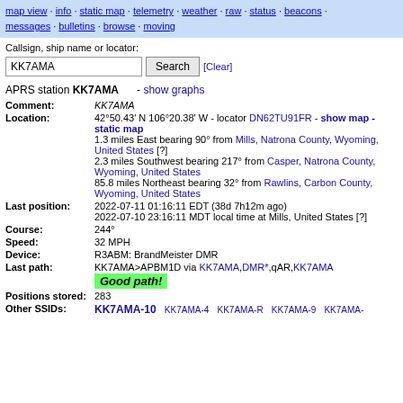map view · info · static map · telemetry · weather · raw · status · beacons · messages · bulletins · browse · moving
Callsign, ship name or locator:
KK7AMA [Search] [Clear]
APRS station KK7AMA - show graphs
| Field | Value |
| --- | --- |
| Comment: | KK7AMA |
| Location: | 42°50.43' N 106°20.38' W - locator DN62TU91FR - show map - static map
1.3 miles East bearing 90° from Mills, Natrona County, Wyoming, United States [?]
2.3 miles Southwest bearing 217° from Casper, Natrona County, Wyoming, United States
85.8 miles Northeast bearing 32° from Rawlins, Carbon County, Wyoming, United States |
| Last position: | 2022-07-11 01:16:11 EDT (38d 7h12m ago)
2022-07-10 23:16:11 MDT local time at Mills, United States [?] |
| Course: | 244° |
| Speed: | 32 MPH |
| Device: | R3ABM: BrandMeister DMR |
| Last path: | KK7AMA>APBM1D via KK7AMA,DMR*,qAR,KK7AMA
Good path! |
| Positions stored: | 283 |
| Other SSIDs: | KK7AMA-10  KK7AMA-4  KK7AMA-R  KK7AMA-9  KK7AMA- |